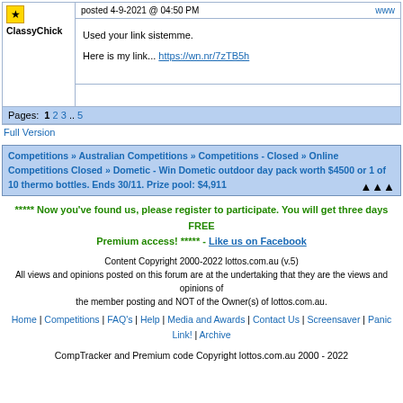posted 4-9-2021 @ 04:50 PM
ClassyChick
Used your link sistemme.

Here is my link... https://wn.nr/7zTB5h
Pages: 1 2 3 .. 5
Full Version
Competitions » Australian Competitions » Competitions - Closed » Online Competitions Closed » Dometic - Win Dometic outdoor day pack worth $4500 or 1 of 10 thermo bottles. Ends 30/11. Prize pool: $4,911
***** Now you've found us, please register to participate. You will get three days FREE Premium access! ***** - Like us on Facebook
Content Copyright 2000-2022 lottos.com.au (v.5)
All views and opinions posted on this forum are at the undertaking that they are the views and opinions of the member posting and NOT of the Owner(s) of lottos.com.au.
Home | Competitions | FAQ's | Help | Media and Awards | Contact Us | Screensaver | Panic Link! | Archive
CompTracker and Premium code Copyright lottos.com.au 2000 - 2022